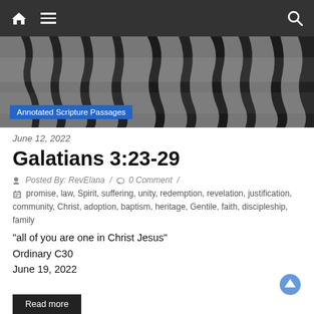Navigation bar with home, menu, and search icons
[Figure (photo): Black and white close-up photograph of zebra stripes with 'Annotated Scripture Passages' label overlay]
June 12, 2022
Galatians 3:23-29
Posted By: RevElana / 0 Comment /
promise, law, Spirit, suffering, unity, redemption, revelation, justification, community, Christ, adoption, baptism, heritage, Gentile, faith, discipleship, family
“all of you are one in Christ Jesus”
Ordinary C30
June 19, 2022